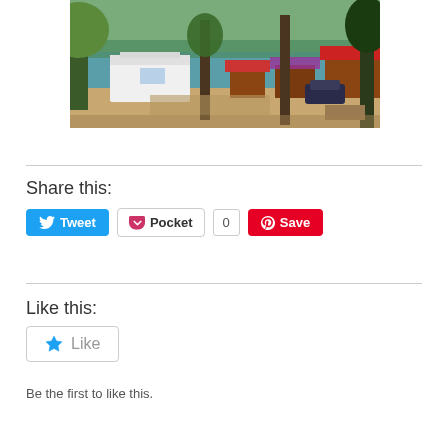[Figure (photo): Outdoor camping scene near a lake with a white RV/trailer, wooden cabins with red roofs, tall trees, and a forested hillside in the background. A dark car is parked near the cabins.]
Share this:
[Figure (infographic): Social sharing buttons: blue Tweet button with Twitter bird icon, Pocket button with heart icon and count of 0, red Save button with Pinterest icon]
Like this:
[Figure (infographic): Like widget box with a blue star icon and grey 'Like' text]
Be the first to like this.